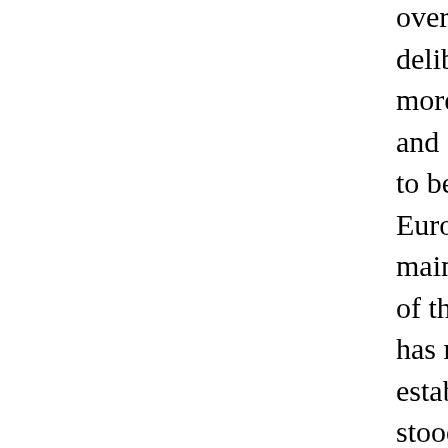overshadowed by the Supreme Council, and deliberations at Hythe, San Remo, and Spa h more influence on international relations than and shadowy gatherings at St. James's Palace to be a reluctance on the part of the Elder Sta Europe to part with the Supreme Council -- a maintain for its exclusive consideration the m of the political problems. Under this influenc has missed two or three golden opportunities establishing itself as a potent factor in the wo stood idly by when the French seized Frankf Although open war was waged between Rus for months after the League came into being, step to define or reconcile the quarrel. The at upon Persia won only the reluctant and timid of the League's Council; and in a meeting in Persian representative was the butt of Lord C pompous arrogance, a 'formula' was discover offended and profited nobody.
On the other hand, the argument of Mr. Lloyd not without some weight. 'We must not imag a frank talk with a protesting labor delegation League is dead because it has not in its babylo become a full-armed giant, holding down all disorder and the monster of militarism. To st